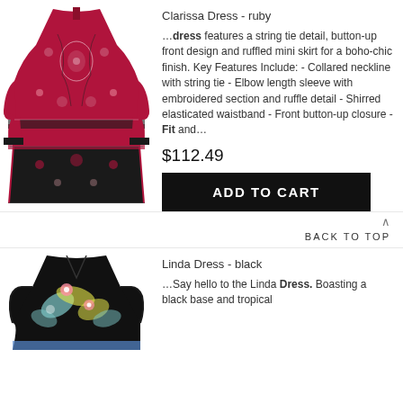[Figure (photo): Clarissa Dress in ruby color - a boho-chic mini dress with floral print, elbow length ruffled sleeves, button-up front, and shirred waistband]
Clarissa Dress - ruby
…dress features a string tie detail, button-up front design and ruffled mini skirt for a boho-chic finish. Key Features Include: - Collared neckline with string tie - Elbow length sleeve with embroidered section and ruffle detail - Shirred elasticated waistband - Front button-up closure - Fit and…
$112.49
ADD TO CART
BACK TO TOP
[Figure (photo): Linda Dress in black color - a floral print dress with black base and tropical pattern]
Linda Dress - black
…Say hello to the Linda Dress. Boasting a black base and tropical